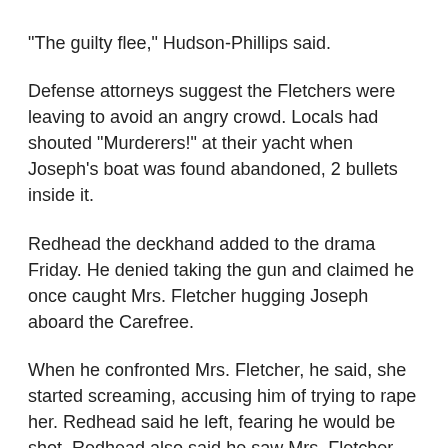"The guilty flee," Hudson-Phillips said.
Defense attorneys suggest the Fletchers were leaving to avoid an angry crowd. Locals had shouted "Murderers!" at their yacht when Joseph's boat was found abandoned, 2 bullets inside it.
Redhead the deckhand added to the drama Friday. He denied taking the gun and claimed he once caught Mrs. Fletcher hugging Joseph aboard the Carefree.
When he confronted Mrs. Fletcher, he said, she started screaming, accusing him of trying to rape her. Redhead said he left, fearing he would be shot. Redhead also said he saw Mrs. Fletcher throw a gun at her husband on several occasions.
Jurors haven't been allowed to hear locals'